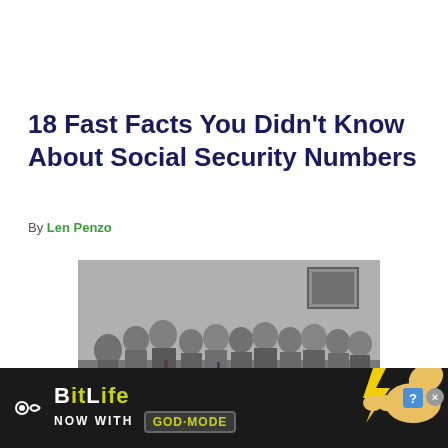18 Fast Facts You Didn't Know About Social Security Numbers
By Len Penzo
[Figure (photo): Black and white historical photograph showing a group of people in formal attire, appears to be a government signing ceremony or official event]
[Figure (infographic): BitLife advertisement banner - NOW WITH GOD MODE, dark background with yellow hand pointing graphic and close button]